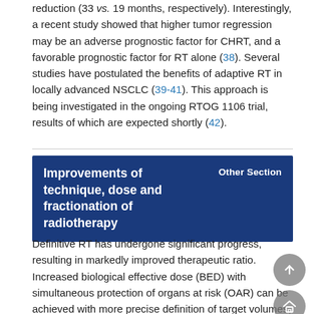reduction (33 vs. 19 months, respectively). Interestingly, a recent study showed that higher tumor regression may be an adverse prognostic factor for CHRT, and a favorable prognostic factor for RT alone (38). Several studies have postulated the benefits of adaptive RT in locally advanced NSCLC (39-41). This approach is being investigated in the ongoing RTOG 1106 trial, results of which are expected shortly (42).
Improvements of technique, dose and fractionation of radiotherapy
Definitive RT has undergone significant progress, resulting in markedly improved therapeutic ratio. Increased biological effective dose (BED) with simultaneous protection of organs at risk (OAR) can be achieved with more precise definition of target volumes, use of conformal techniques, modification of dose and fractionation, and proper respiratory motion control.